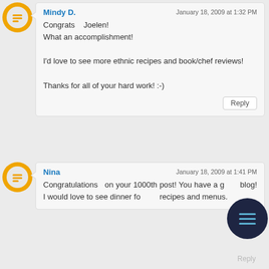Mindy D.
January 18, 2009 at 1:32 PM
Congrats Joelen! What an accomplishment!

I'd love to see more ethnic recipes and book/chef reviews!

Thanks for all of your hard work! :-)
Reply
Nina
January 18, 2009 at 1:41 PM
Congratulations on your 1000th post! You have a great blog! I would love to see dinner for two recipes and menus.
Reply